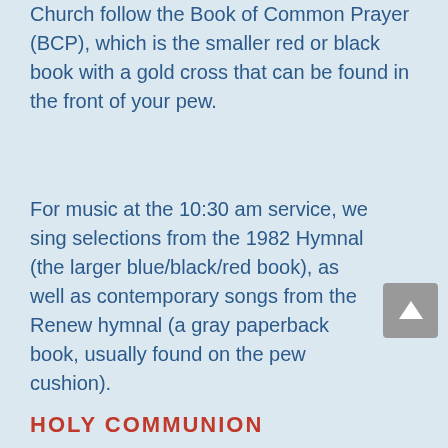Church follow the Book of Common Prayer (BCP), which is the smaller red or black book with a gold cross that can be found in the front of your pew.
For music at the 10:30 am service, we sing selections from the 1982 Hymnal (the larger blue/black/red book), as well as contemporary songs from the Renew hymnal (a gray paperback book, usually found on the pew cushion).
HOLY COMMUNION